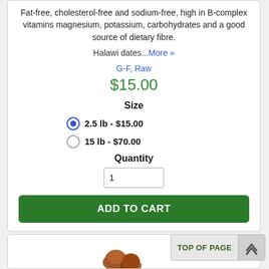Fat-free, cholesterol-free and sodium-free, high in B-complex vitamins magnesium, potassium, carbohydrates and a good source of dietary fibre.
Halawi dates...More »
G-F, Raw
$15.00
Size
2.5 lb - $15.00
15 lb - $70.00
Quantity
1
ADD TO CART
TOP OF PAGE